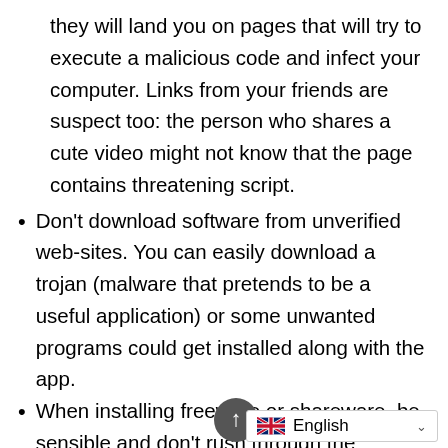they will land you on pages that will try to execute a malicious code and infect your computer. Links from your friends are suspect too: the person who shares a cute video might not know that the page contains threatening script.
Don't download software from unverified web-sites. You can easily download a trojan (malware that pretends to be a useful application) or some unwanted programs could get installed along with the app.
When installing freeware or shareware, be sensible and don't rush through the process. Choose Custom or Advanced installation mode, look for checkboxes that ask for your permission to install third-party apps and uncheck them, read End User License Agreement to make sure no...